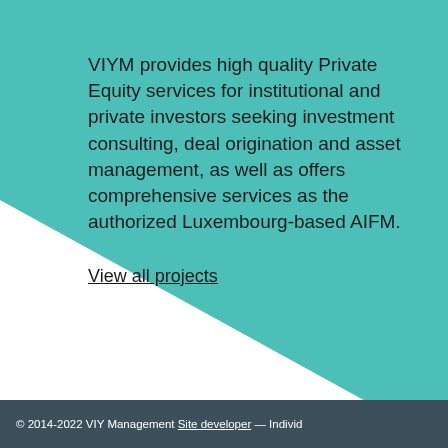[Figure (illustration): Teal/turquoise decorative background shape (large rounded polygon) filling the upper portion of the page, with a white lower section. A partial photo of an interior space is visible at the top.]
VIYM provides high quality Private Equity services for institutional and private investors seeking investment consulting, deal origination and asset management, as well as offers comprehensive services as the authorized Luxembourg-based AIFM.
View all projects
© 2014-2022 VIY Management Site developer — Individ